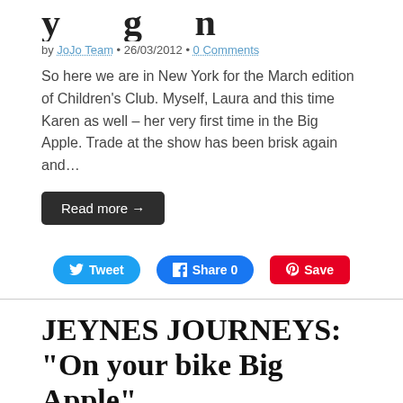y   g   n
by JoJo Team • 26/03/2012 • 0 Comments
So here we are in New York for the March edition of Children's Club. Myself, Laura and this time Karen as well – her very first time in the Big Apple. Trade at the show has been brisk again and…
Read more →
[Figure (other): Social sharing buttons: Tweet, Share 0, Save]
JEYNES JOURNEYS: "On your bike Big Apple"
by Mark Jeynes • 26/03/2012 • 0 Comments
So here we are in New York for the March edition of Children's Club. Myself, Laura and this time Karen as well – her very first